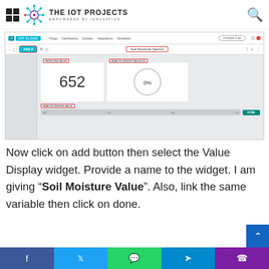THE IOT PROJECTS — EMPOWERED BY INNOVATION
[Figure (screenshot): IOT Cloud dashboard screenshot showing a Soil Moisture Sensor dashboard with a value display widget showing 652, a gauge widget showing 0%, and a slider widget.]
Now click on add button then select the Value Display widget. Provide a name to the widget. I am giving “Soil Moisture Value”. Also, link the same variable then click on done.